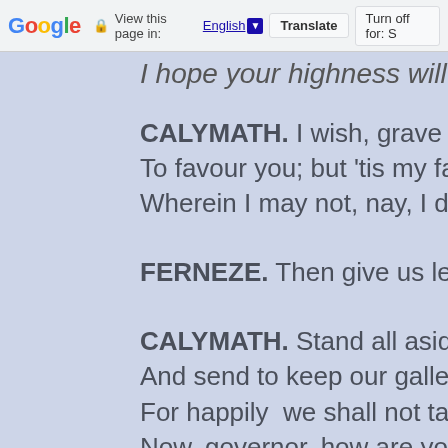Google  View this page in: English ▼  Translate  Turn off for: S
I hope your highness will consider a
CALYMATH. I wish, grave governor,
To favour you; but 'tis my father's ca
Wherein I may not, nay, I dare not d
FERNEZE. Then give us leave, grea
CALYMATH. Stand all aside,  and le
And send to keep our galleys under
For happily  we shall not tarry here.—
Now, governor, how are you resolv'd